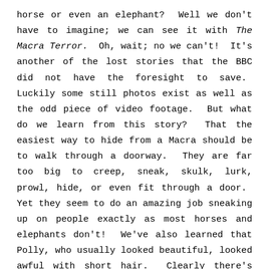horse or even an elephant?  Well we don't have to imagine; we can see it with The Macra Terror.  Oh, wait; no we can't!  It's another of the lost stories that the BBC did not have the foresight to save.  Luckily some still photos exist as well as the odd piece of video footage.  But what do we learn from this story?  That the easiest way to hide from a Macra should be to walk through a doorway.  They are far too big to creep, sneak, skulk, lurk, prowl, hide, or even fit through a door.  Yet they seem to do an amazing job sneaking up on people exactly as most horses and elephants don't!  We've also learned that Polly, who usually looked beautiful, looked awful with short hair.  Clearly there's another missing episode where they go up against some clipping sheers and she loses.    Poor Polly!

My first memory of this story comes from the Target